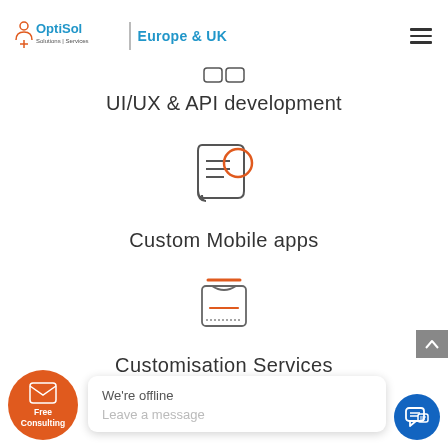OptiSol Solutions | Services — Europe & UK
UI/UX & API development
[Figure (illustration): Icon showing a document/scroll with horizontal lines and an orange circle, representing UI/UX & API development]
Custom Mobile apps
[Figure (illustration): Icon showing a card/package box with an orange top bar and orange horizontal line, representing Custom Mobile apps]
Customisation Services
[Figure (illustration): Orange circle button with envelope icon labeled Free Consulting]
We're offline
Leave a message
[Figure (illustration): Blue circle chat button with speech bubble icon]